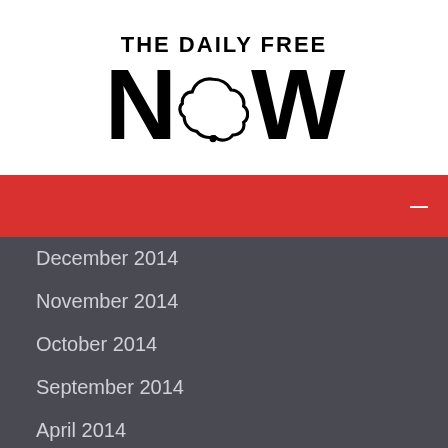[Figure (logo): The Daily Free NOW logo with bold text and a cloud/bubble shape replacing the 'O' in NOW]
December 2014
November 2014
October 2014
September 2014
April 2014
March 2014